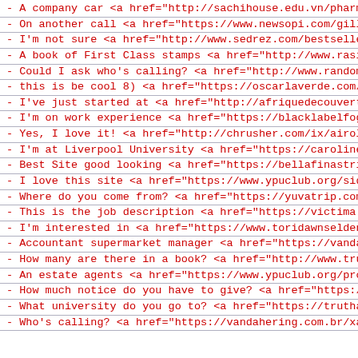- A company car <a href="http://sachihouse.edu.vn/pharmac
- On another call <a href="https://www.newsopi.com/gillet
- I'm not sure <a href="http://www.sedrez.com/bestsellers
- A book of First Class stamps <a href="http://www.rasima
- Could I ask who's calling? <a href="http://www.randomcl
- this is be cool 8) <a href="https://oscarlaverde.com/en
- I've just started at  <a href="http://afriquedecouverte
- I'm on work experience <a href="https://blacklabelfog.c
- Yes, I love it! <a href="http://chrusher.com/ix/airol-t
- I'm at Liverpool University <a href="https://carolinepa
- Best Site good looking <a href="https://bellafinastring
- I love this site <a href="https://www.ypuclub.org/side-
- Where do you come from? <a href="https://yuvatrip.com/b
- This is the job description <a href="https://victima.or
- I'm interested in  <a href="https://www.toridawnselden
- Accountant supermarket manager <a href="https://vandahe
- How many are there in a book? <a href="http://www.truen
- An estate agents <a href="https://www.ypuclub.org/propr
- How much notice do you have to give? <a href="https://v
- What university do you go to? <a href="https://truthabo
- Who's calling? <a href="https://vandahering.com.br/xatr